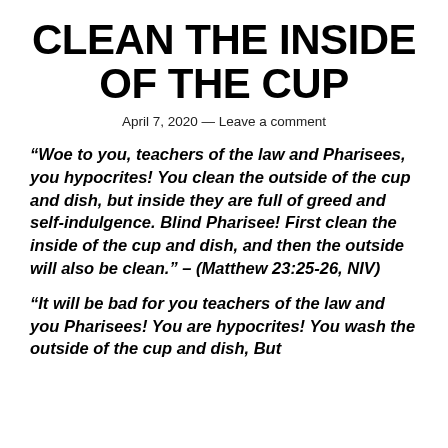CLEAN THE INSIDE OF THE CUP
April 7, 2020 — Leave a comment
“Woe to you, teachers of the law and Pharisees, you hypocrites! You clean the outside of the cup and dish, but inside they are full of greed and self-indulgence. Blind Pharisee! First clean the inside of the cup and dish, and then the outside will also be clean.” – (Matthew 23:25-26, NIV)
“It will be bad for you teachers of the law and you Pharisees! You are hypocrites! You wash the outside of the cup and dish, But